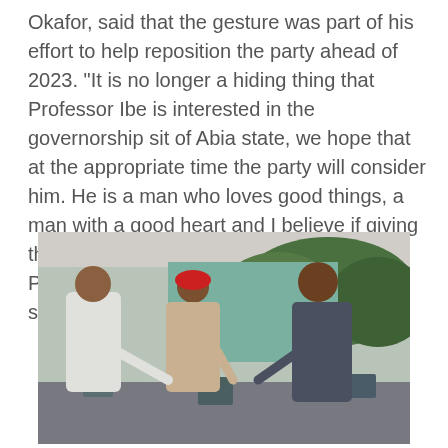Okafor, said that the gesture was part of his effort to help reposition the party ahead of 2023. “It is no longer a hiding thing that Professor Ibe is interested in the governorship sit of Abia state, we hope that at the appropriate time the party will consider him. He is a man who loves good things, a man with a good heart and I believe if giving the opportunity to contest from our platform PDP, he’ll not only win but transform Abia state”. He said.
[Figure (photo): Two men shaking hands or greeting each other near chairs on what appears to be a terrace or outdoor venue. One man wears white clothing, another wears a red cap and traditional attire, and a third man in dark grey clothing stands to the right. Green trees are visible in the background.]